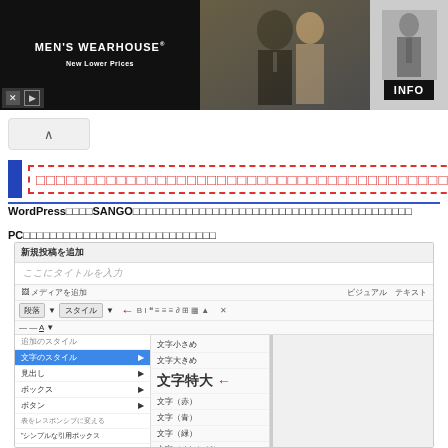[Figure (screenshot): Men's Wearhouse advertisement banner with couple in formal wear and man in suit, INFO button]
[Figure (screenshot): Collapse/up arrow button UI element]
WordPressテーマSANGOで文字のスタイルを変える方法（文字色・文字サイズ）
PCでの文字スタイルの変え方（ビジュアルエディタ）
[Figure (screenshot): WordPress editor screenshot showing new post screen with Style dropdown menu open, showing 文字のスタイル submenu with options including 文字小さめ, 文字大きめ, 文字特大, 文字（赤）, 文字（青）, 文字（緑）, 文字（オレンジ）, with red arrow pointing to 文字特大]